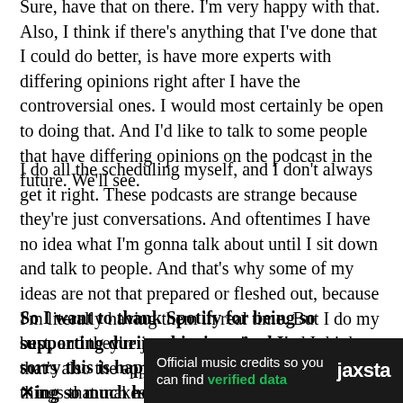Sure, have that on there. I'm very happy with that. Also, I think if there's anything that I've done that I could do better, is have more experts with differing opinions right after I have the controversial ones. I would most certainly be open to doing that. And I'd like to talk to some people that have differing opinions on the podcast in the future. We'll see.
I do all the scheduling myself, and I don't always get it right. These podcasts are strange because they're just conversations. And oftentimes I have no idea what I'm gonna talk about until I sit down and talk to people. And that's why some of my ideas are not that prepared or fleshed out, because I'm literally having them in real time. But I do my best, and they're just conversations, and I think that's also the appeal of the show. It's one of the things that makes it interesting.
So I want to thank Spotify for being so supporting during this time. And I'm very sorry this is happening to them, and they're Xing so much he
[Figure (other): Advertisement banner for Jaxsta: dark background with text 'Official music credits so you can find verified data' and Jaxsta logo on the right]
First of a...